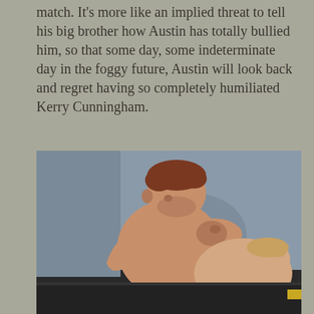match. It's more like an implied threat to tell his big brother how Austin has totally bullied him, so that some day, some indeterminate day in the foggy future, Austin will look back and regret having so completely humiliated Kerry Cunningham.
[Figure (photo): Two wrestlers grappling on a mat. One larger man with reddish-brown hair has his fist pressed against the face of a second lighter-haired man who is bent over. The second man is wearing red trunks with partial text visible.]